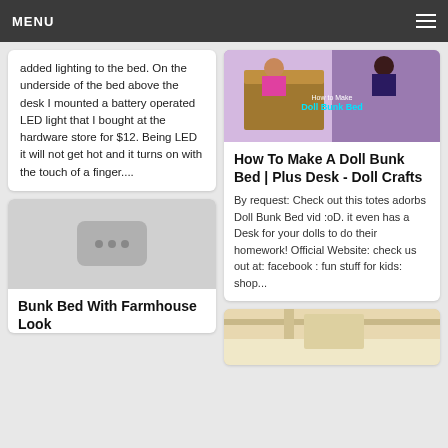MENU
added lighting to the bed. On the underside of the bed above the desk I mounted a battery operated LED light that I bought at the hardware store for $12. Being LED it will not get hot and it turns on with the touch of a finger....
[Figure (photo): Photo of a doll bunk bed with two dolls, labeled Doll Bunk Bed]
How To Make A Doll Bunk Bed | Plus Desk - Doll Crafts
By request: Check out this totes adorbs Doll Bunk Bed vid :oD. it even has a Desk for your dolls to do their homework! Official Website: check us out at: facebook : fun stuff for kids: shop...
[Figure (photo): Placeholder image with three dots]
Bunk Bed With Farmhouse Look
[Figure (photo): Partial photo of a bunk bed with light wood tones]